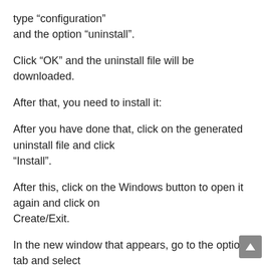type “configuration”
and the option “uninstall”.
Click “OK” and the uninstall file will be downloaded.
After that, you need to install it:
After you have done that, click on the generated uninstall file and click “Install”.
After this, click on the Windows button to open it again and click on
Create/Exit.
In the new window that appears, go to the options tab and select